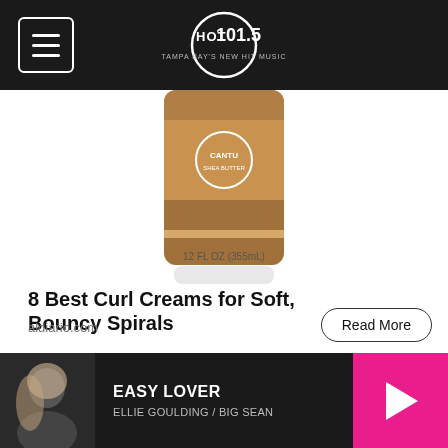HOT 101.5 - TAMPA BAY'S NEW HIT MUSIC
[Figure (photo): Product photo of a curl cream bottle, bronze/gold colored, labeled '12 FL OZ (355mL)', partially cropped at top]
8 Best Curl Creams for Soft, Bouncy Spirals
aldiario.com
Hurricane Guide
[Figure (photo): Hurricane Guide image placeholder]
Get the most updated storm tracks and info from NOAA
EASY LOVER — ELLIE GOULDING / BIG SEAN